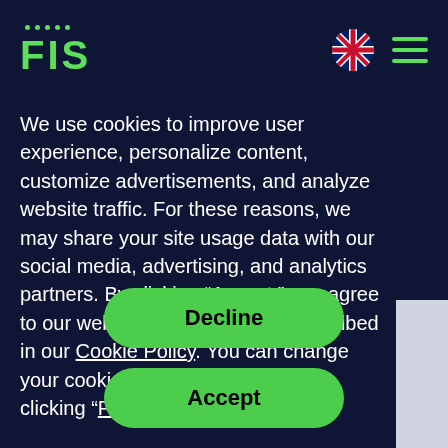[Figure (logo): FIS company logo in green with dots above letters]
[Figure (other): UK flag icon and hamburger menu icon in green]
We use cookies to improve user experience, personalize content, customize advertisements, and analyze website traffic. For these reasons, we may share your site usage data with our social media, advertising, and analytics partners. By clicking “Accept,” you agree to our website’s cookie use as described in our Cookie Policy. You can change your cookie settings at any time by clicking “Preferences.”
Decline
Accept